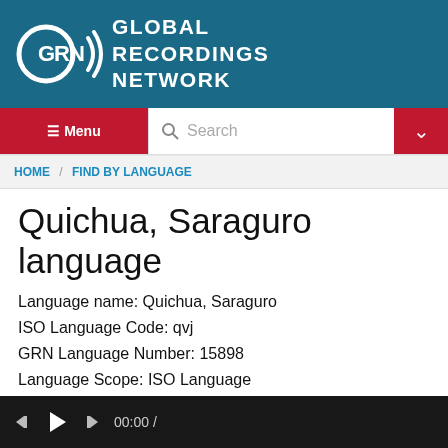[Figure (logo): Global Recordings Network logo with GRN text and signal waves icon on teal/blue background]
GLOBAL RECORDINGS NETWORK
≡ Menu  Search  ∨
HOME / FIND BY LANGUAGE
Quichua, Saraguro language
Language name: Quichua, Saraguro
ISO Language Code: qvj
GRN Language Number: 15898
Language Scope: ISO Language
Language State: Verified
Sample of Quichua, Saraguro
[Figure (screenshot): Video/audio player bar with play button and time display showing 00:00 /]